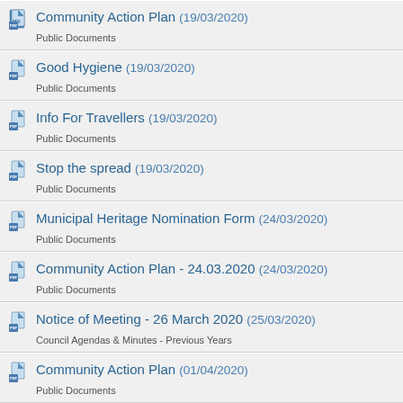Community Action Plan (19/03/2020) - Public Documents
Good Hygiene (19/03/2020) - Public Documents
Info For Travellers (19/03/2020) - Public Documents
Stop the spread (19/03/2020) - Public Documents
Municipal Heritage Nomination Form (24/03/2020) - Public Documents
Community Action Plan - 24.03.2020 (24/03/2020) - Public Documents
Notice of Meeting - 26 March 2020 (25/03/2020) - Council Agendas & Minutes - Previous Years
Community Action Plan (01/04/2020) - Public Documents
Regions (01/04/2020)